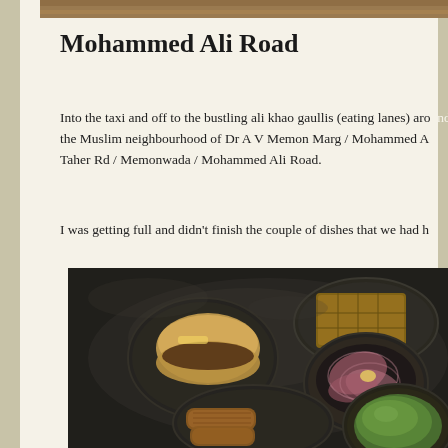[Figure (photo): Top portion of a food/travel blog page showing a partial image at the very top]
Mohammed Ali Road
Into the taxi and off to the bustling ali khao gaullis (eating lanes) around the Muslim neighbourhood of Dr A V Memon Marg / Mohammed Ali Rd / Taher Rd / Memonwada / Mohammed Ali Road.
I was getting full and didn't finish the couple of dishes that we had h
[Figure (photo): Overhead photo of multiple metal plates and bowls on a steel surface, showing various Indian street food dishes including what appears to be seekh kebabs, pav bun sandwich, onion salad, and green chutney]